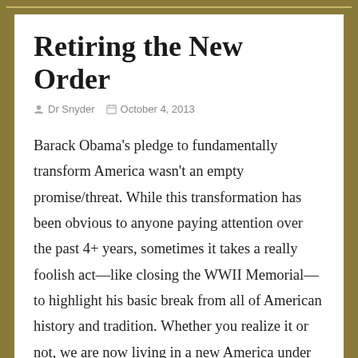Retiring the New Order
Dr Snyder   October 4, 2013
Barack Obama's pledge to fundamentally transform America wasn't an empty promise/threat. While this transformation has been obvious to anyone paying attention over the past 4+ years, sometimes it takes a really foolish act—like closing the WWII Memorial—to highlight his basic break from all of American history and tradition. Whether you realize it or not, we are now living in a new America under this president. It's an America we've never seen before: Those who normally would be seen as